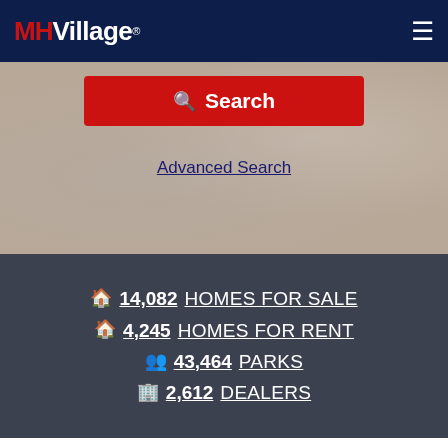MHVillage
[Figure (screenshot): Hero/search area with blurred interior background image and red Search button and Advanced Search link]
Advanced Search
14,082 HOMES FOR SALE
4,245 HOMES FOR RENT
43,464 PARKS
2,612 DEALERS
Manufactured Housing Is All We Do.
MHVillage has the largest selection of new and pre-owned manufactured homes, communities and retailers, all in one